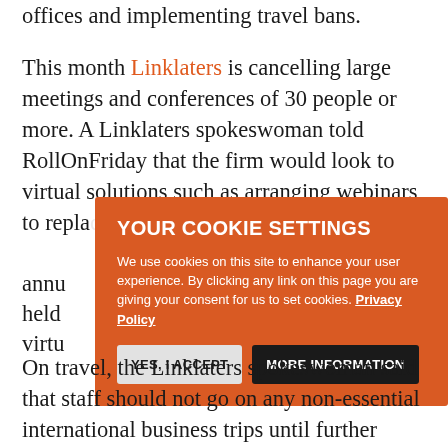offices and implementing travel bans.
This month Linklaters is cancelling large meetings and conferences of 30 people or more. A Linklaters spokeswoman told RollOnFriday that the firm would look to virtual solutions such as arranging webinars to replace... annual... be held... virtu... until... unde... work... term...
[Figure (screenshot): Cookie consent overlay with orange background, title 'YOUR COOKIE SETTINGS', body text about cookie usage and privacy policy link, and two buttons: 'YES, I ACCEPT' (light) and 'MORE INFORMATION' (dark).]
On travel, the Linklaters spokeswoman said that staff should not go on any non-essential international business trips until further notice. She added that the firm is advising staff "that they should not travel to certain areas at all due to high levels of localised